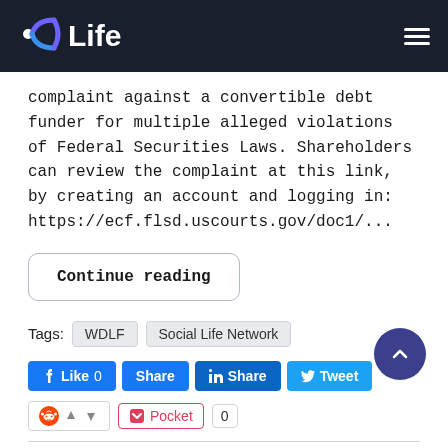DLife
complaint against a convertible debt funder for multiple alleged violations of Federal Securities Laws. Shareholders can review the complaint at this link, by creating an account and logging in: https://ecf.flsd.uscourts.gov/doc1/...
Continue reading
Tags: WDLF  Social Life Network
Like 0  Share  Share  Tweet
Pocket 0
Social Life Network (OTC: WDLF) to Host